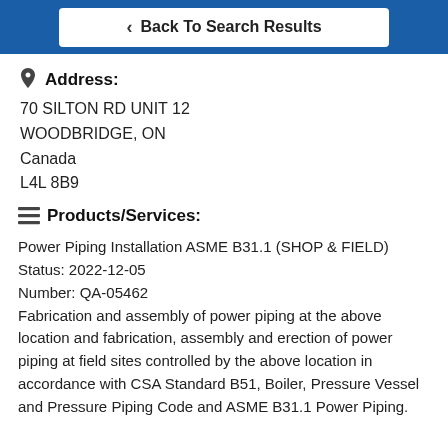< Back To Search Results
Address:
70 SILTON RD UNIT 12
WOODBRIDGE, ON
Canada
L4L 8B9
Products/Services:
Power Piping Installation ASME B31.1 (SHOP & FIELD)
Status: 2022-12-05
Number: QA-05462
Fabrication and assembly of power piping at the above location and fabrication, assembly and erection of power piping at field sites controlled by the above location in accordance with CSA Standard B51, Boiler, Pressure Vessel and Pressure Piping Code and ASME B31.1 Power Piping.